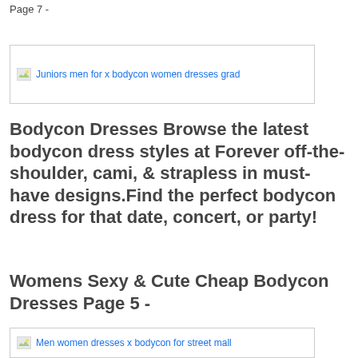Page 7 -
[Figure (photo): Broken image placeholder: Juniors men for x bodycon women dresses grad]
Bodycon Dresses Browse the latest bodycon dress styles at Forever off-the-shoulder, cami, & strapless in must-have designs.Find the perfect bodycon dress for that date, concert, or party!
Womens Sexy & Cute Cheap Bodycon Dresses Page 5 -
[Figure (photo): Broken image placeholder: Men women dresses x bodycon for street mall]